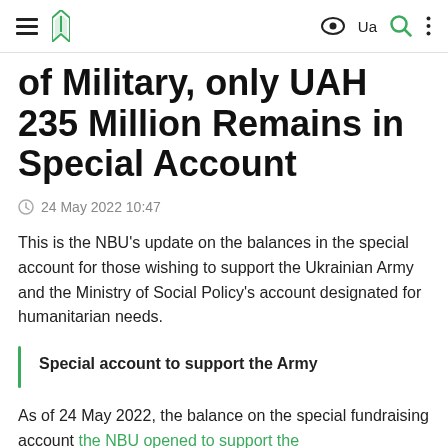Navigation bar with hamburger menu, NBU logo, eye icon, Ua language toggle, search icon, and menu dots
of Military, only UAH 235 Million Remains in Special Account
24 May 2022 10:47
This is the NBU's update on the balances in the special account for those wishing to support the Ukrainian Army and the Ministry of Social Policy's account designated for humanitarian needs.
Special account to support the Army
As of 24 May 2022, the balance on the special fundraising account the NBU opened to support the